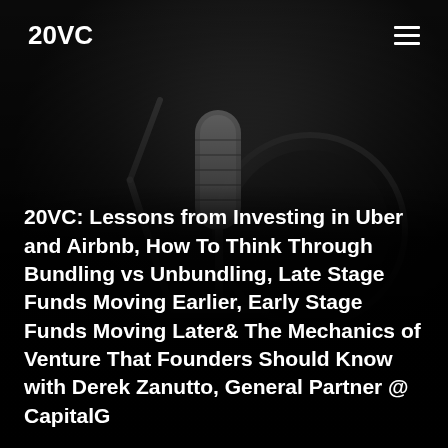20VC
20VC: Lessons from Investing in Uber and Airbnb, How To Think Through Bundling vs Unbundling, Late Stage Funds Moving Earlier, Early Stage Funds Moving Later& The Mechanics of Venture That Founders Should Know with Derek Zanutto, General Partner @ CapitalG